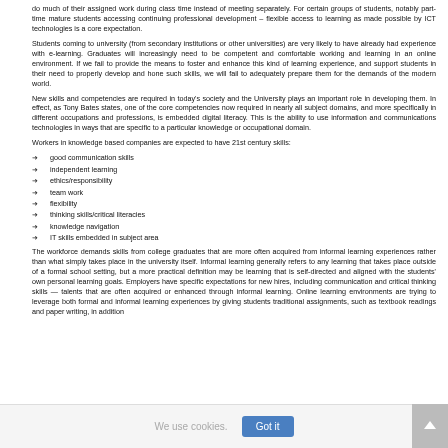do much of their assigned work during class time instead of meeting separately. For certain groups of students, notably part-time mature students accessing continuing professional development – flexible access to learning as made possible by ICT technologies is a core expectation.
Students coming to university (from secondary institutions or other universities) are very likely to have already had experience with e-learning. Graduates will increasingly need to be competent and comfortable working and learning in an online environment. If we fail to provide the means to foster and enhance this kind of learning experience, and support students in their need to properly develop and hone such skills, we will fail to adequately prepare them for the demands of the modern world.
New skills and competencies are required in today's society and the University plays an important role in developing them. In effect, as Tony Bates states, one of the core competencies now required in nearly all subject domains, and more specifically in different occupations and professions, is embedded digital literacy. This is the ability to use information and communications technologies in ways that are specific to a particular knowledge or occupational domain.
Workers in knowledge based companies are expected to have 21st century skills:
good communication skills
independent learning
ethics/responsibility
team work
flexibility
thinking skills/critical literacies
knowledge navigation
IT skills embedded in subject area
The workforce demands skills from college graduates that are more often acquired from informal learning experiences rather than what simply takes place in the university itself. Informal learning generally refers to any learning that takes place outside of a formal school setting, but a more practical definition may be learning that is self-directed and aligned with the students' own personal learning goals. Employers have specific expectations for new hires, including communication and critical thinking skills — talents that are often acquired or enhanced through informal learning. Online learning environments are trying to leverage both formal and informal learning experiences by giving students traditional assignments, such as textbook readings and paper writing, in addition